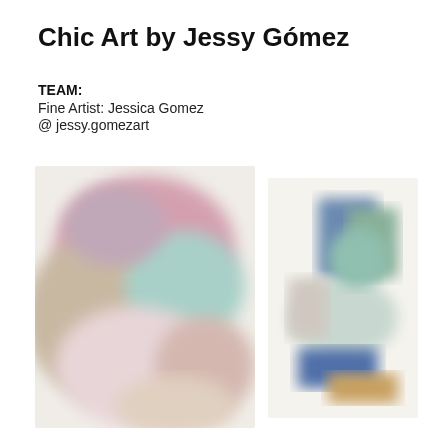Chic Art by Jessy Gómez
TEAM:
Fine Artist: Jessica Gomez
@ jessy.gomezart
[Figure (photo): Abstract colorful painting with pinks, teals, and cream tones — blurred/obscured art image, tall portrait orientation]
[Figure (photo): Abstract colorful painting with blues, greens, and warm tones — blurred/obscured art image, square-ish orientation]